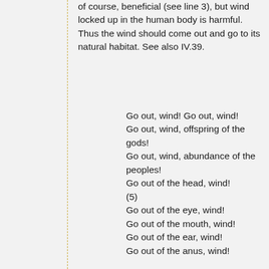of course, beneficial (see line 3), but wind locked up in the human body is harmful. Thus the wind should come out and go to its natural habitat. See also IV.39.
Go out, wind! Go out, wind!
Go out, wind, offspring of the gods!
Go out, wind, abundance of the peoples!
Go out of the head, wind!
(5)
Go out of the eye, wind!
Go out of the mouth, wind!
Go out of the ear, wind!
Go out of the anus, wind!